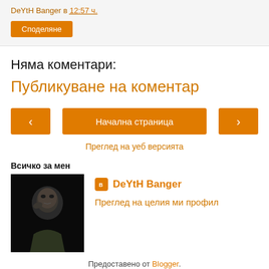DeYtH Banger в 12:57 ч.
Споделяне
Няма коментари:
Публикуване на коментар
‹  Начална страница  ›
Преглед на уеб версията
Всичко за мен
[Figure (photo): Profile photo of DeYtH Banger — man in dark clothing against black background]
DeYtH Banger
Преглед на целия ми профил
Предоставено от Blogger.